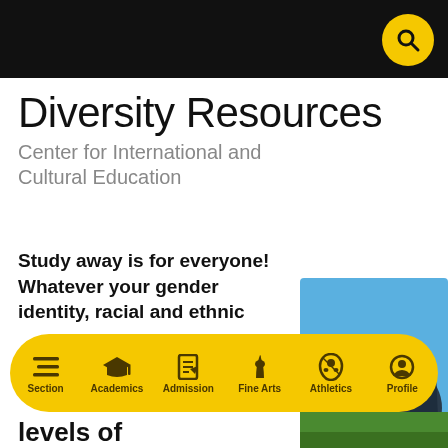Diversity Resources
Center for International and Cultural Education
Study away is for everyone! Whatever your gender identity, racial and ethnic
[Figure (photo): Close-up photograph of a dark blue/black sneaker shoe against a blue sky background]
Section | Academics | Admission | Fine Arts | Athletics | Profile
levels of